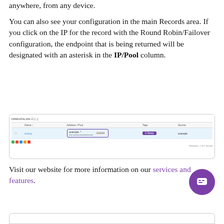anywhere, from any device.
You can also see your configuration in the main Records area. If you click on the IP for the record with the Round Robin/Failover configuration, the endpoint that is being returned will be designated with an asterisk in the IP/Pool column.
[Figure (screenshot): Screenshot of a DNS records table showing a row with Round Robin/Failover configuration. The IP/Pool column is highlighted with a purple border showing an asterisk next to the IP. A purple Tags pill is also visible.]
Visit our website for more information on our services and features.